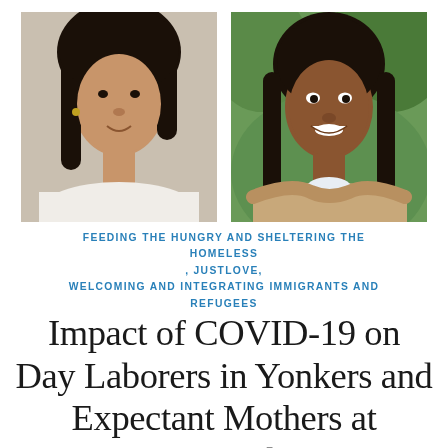[Figure (photo): Two portrait photos side by side: left photo shows a young woman with dark hair, light-colored top; right photo shows a woman with braids wearing a tan/beige cardigan, arms crossed, smiling outdoors with green foliage background.]
FEEDING THE HUNGRY AND SHELTERING THE HOMELESS , JUSTLOVE, WELCOMING AND INTEGRATING IMMIGRANTS AND REFUGEES
Impact of COVID-19 on Day Laborers in Yonkers and Expectant Mothers at Maternity Residences for Homeless Women